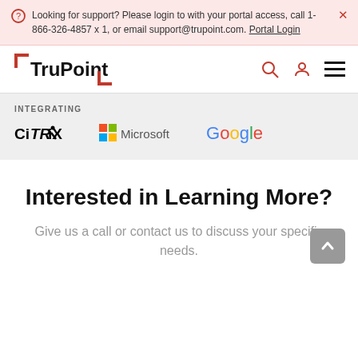Looking for support? Please login to with your portal access, call 1-866-326-4857 x 1, or email support@trupoint.com. Portal Login
[Figure (logo): TruPoint logo with red corner brackets]
INTEGRATING
[Figure (logo): Citrix, Microsoft, and Google logos in a row]
Interested in Learning More?
Give us a call or contact us to discuss your specific needs.